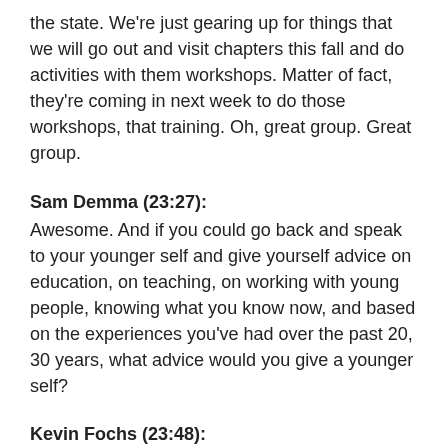the state. We're just gearing up for things that we will go out and visit chapters this fall and do activities with them workshops. Matter of fact, they're coming in next week to do those workshops, that training. Oh, great group. Great group.
Sam Demma (23:27):
Awesome. And if you could go back and speak to your younger self and give yourself advice on education, on teaching, on working with young people, knowing what you know now, and based on the experiences you've had over the past 20, 30 years, what advice would you give a younger self?
Kevin Fochs (23:48):
You know, that's probably comes more from a personal side was I'm kind of a workaholic. So that was pro I guess if I had to do it everything over again, I'd probably